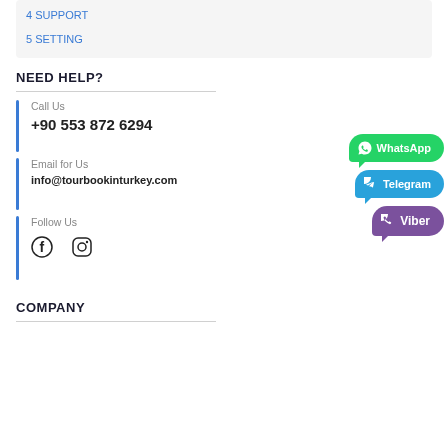4 SUPPORT
5 SETTING
NEED HELP?
Call Us
+90 553 872 6294
Email for Us
info@tourbookinturkey.com
Follow Us
[Figure (infographic): WhatsApp, Telegram, and Viber contact badges on the right side]
COMPANY